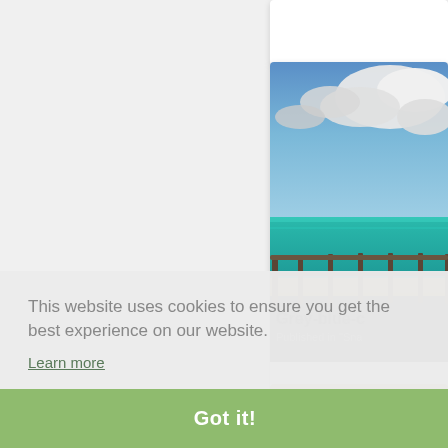[Figure (screenshot): Screenshot of a website with a cookie consent banner overlay. The background shows a light gray page. On the right side, there is a card with a beach photograph showing turquoise ocean water, sandy shore, a metal railing/fence, and dramatic cloudy blue sky. Below the photo is a card title starting with 'Grey-blue-c' (truncated) and 'Published in "Sna' (truncated). A partially visible landscape sunset photo card appears at the bottom right. Over the main content, a light gray semi-transparent cookie consent banner is displayed with text and a green 'Got it!' button.]
This website uses cookies to ensure you get the best experience on our website.
Learn more
Got it!